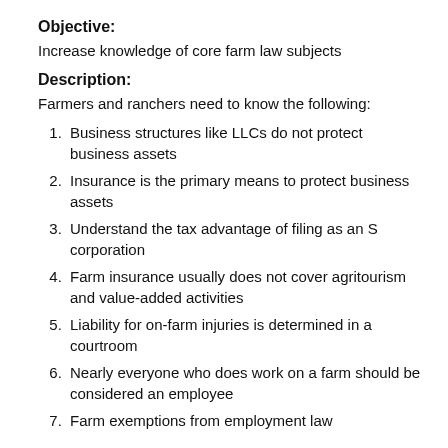Objective:
Increase knowledge of core farm law subjects
Description:
Farmers and ranchers need to know the following:
Business structures like LLCs do not protect business assets
Insurance is the primary means to protect business assets
Understand the tax advantage of filing as an S corporation
Farm insurance usually does not cover agritourism and value-added activities
Liability for on-farm injuries is determined in a courtroom
Nearly everyone who does work on a farm should be considered an employee
Farm exemptions from employment law